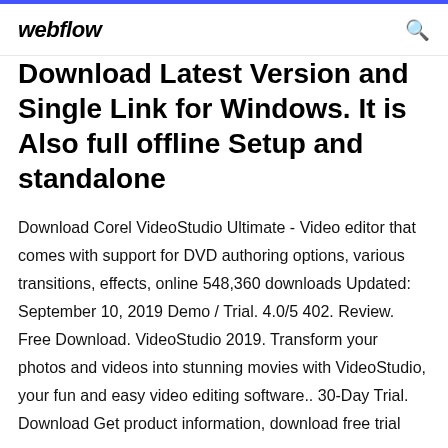webflow
Download Latest Version and Single Link for Windows. It is Also full offline Setup and standalone
Download Corel VideoStudio Ultimate - Video editor that comes with support for DVD authoring options, various transitions, effects, online 548,360 downloads Updated: September 10, 2019 Demo / Trial. 4.0/5 402. Review. Free Download. VideoStudio 2019. Transform your photos and videos into stunning movies with VideoStudio, your fun and easy video editing software.. 30-Day Trial. Download Get product information, download free trial